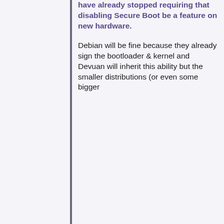have already stopped requiring that disabling Secure Boot be a feature on new hardware.
Debian will be fine because they already sign the bootloader & kernel and Devuan will inherit this ability but the smaller distributions (or even some bigger